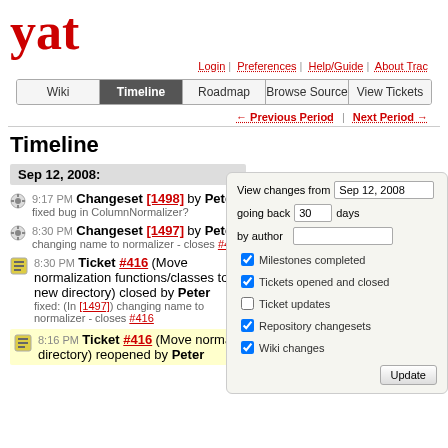yat
Login | Preferences | Help/Guide | About Trac
Wiki | Timeline | Roadmap | Browse Source | View Tickets
← Previous Period | Next Period →
Timeline
Sep 12, 2008:
9:17 PM Changeset [1498] by Peter
fixed bug in ColumnNormalizer?
8:30 PM Changeset [1497] by Peter
changing name to normalizer - closes #416
8:30 PM Ticket #416 (Move normalization functions/classes to a new directory) closed by Peter
fixed: (In [1497]) changing name to normalizer - closes #416
8:16 PM Ticket #416 (Move normalization functions/classes to a new directory) reopened by Peter